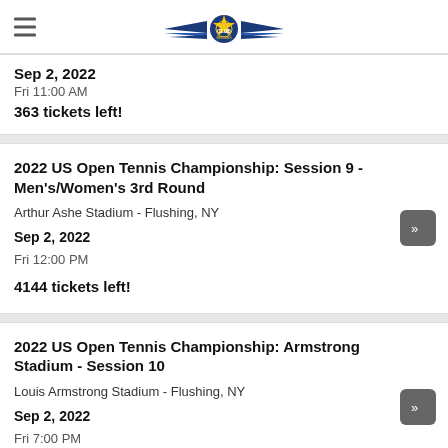Club Milgas navigation header with logo
Sep 2, 2022
Fri 11:00 AM
363 tickets left!
2022 US Open Tennis Championship: Session 9 - Men's/Women's 3rd Round
Arthur Ashe Stadium - Flushing, NY
Sep 2, 2022
Fri 12:00 PM
4144 tickets left!
2022 US Open Tennis Championship: Armstrong Stadium - Session 10
Louis Armstrong Stadium - Flushing, NY
Sep 2, 2022
Fri 7:00 PM
845 tickets left!